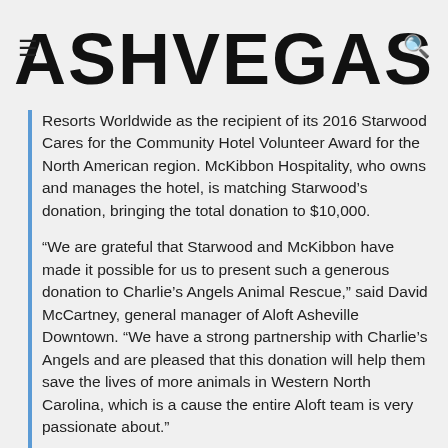ASHVEGAS
Resorts Worldwide as the recipient of its 2016 Starwood Cares for the Community Hotel Volunteer Award for the North American region. McKibbon Hospitality, who owns and manages the hotel, is matching Starwood's donation, bringing the total donation to $10,000.
“We are grateful that Starwood and McKibbon have made it possible for us to present such a generous donation to Charlie’s Angels Animal Rescue,” said David McCartney, general manager of Aloft Asheville Downtown. “We have a strong partnership with Charlie’s Angels and are pleased that this donation will help them save the lives of more animals in Western North Carolina, which is a cause the entire Aloft team is very passionate about.”